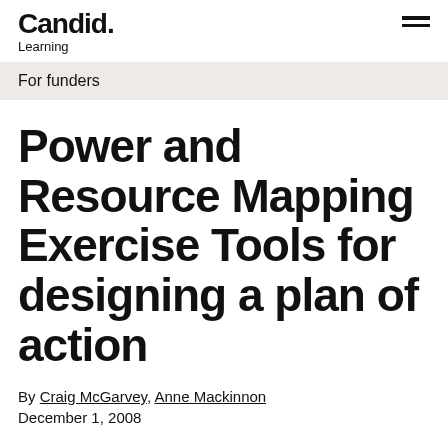Candid. Learning
For funders
Power and Resource Mapping Exercise Tools for designing a plan of action
By Craig McGarvey, Anne Mackinnon
December 1, 2008